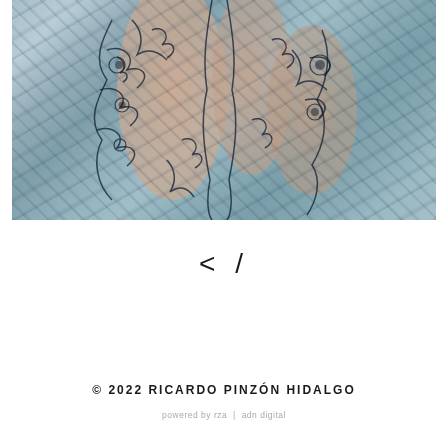[Figure (photo): Close-up photograph of a person's back and torso area covered in intricate dark floral/lace tattoos against a muted blue-grey background. The tattoo work is elaborate with floral and vine patterns covering much of the visible skin.]
< /
© 2022 RICARDO PINZÓN HIDALGO
powered by rza | adn digital